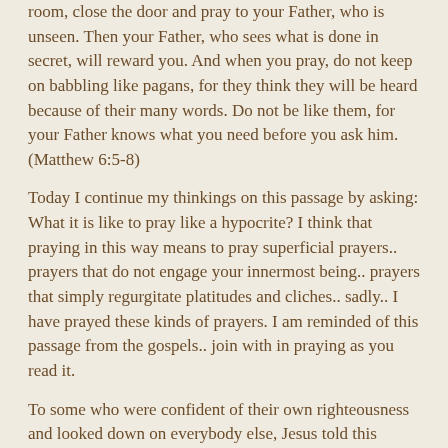room, close the door and pray to your Father, who is unseen. Then your Father, who sees what is done in secret, will reward you. And when you pray, do not keep on babbling like pagans, for they think they will be heard because of their many words. Do not be like them, for your Father knows what you need before you ask him. (Matthew 6:5-8)
Today I continue my thinkings on this passage by asking: What it is like to pray like a hypocrite? I think that praying in this way means to pray superficial prayers.. prayers that do not engage your innermost being.. prayers that simply regurgitate platitudes and cliches.. sadly.. I have prayed these kinds of prayers. I am reminded of this passage from the gospels.. join with in praying as you read it.
To some who were confident of their own righteousness and looked down on everybody else, Jesus told this parable:
"Two men went up to the temple to pray, one a Pharisee and the other a tax collector. 11The Pharisee stood up and prayed about himself: 'God, I thank you that I am not like other men—